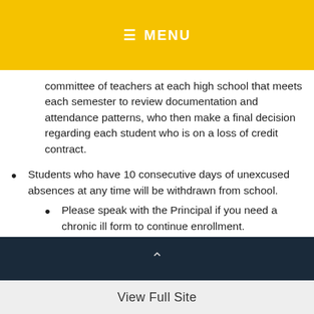≡ MENU
committee of teachers at each high school that meets each semester to review documentation and attendance patterns, who then make a final decision regarding each student who is on a loss of credit contract.
Students who have 10 consecutive days of unexcused absences at any time will be withdrawn from school.
Please speak with the Principal if you need a chronic ill form to continue enrollment.
View Full Site